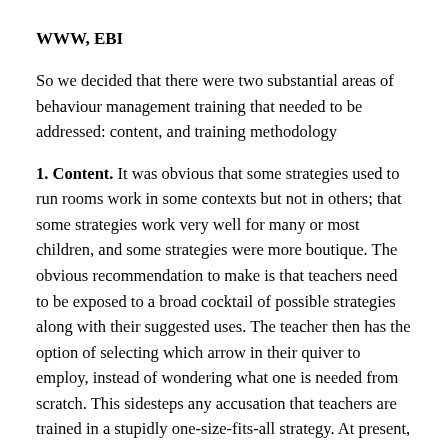WWW, EBI
So we decided that there were two substantial areas of behaviour management training that needed to be addressed: content, and training methodology
1. Content. It was obvious that some strategies used to run rooms work in some contexts but not in others; that some strategies work very well for many or most children, and some strategies were more boutique. The obvious recommendation to make is that teachers need to be exposed to a broad cocktail of possible strategies along with their suggested uses. The teacher then has the option of selecting which arrow in their quiver to employ, instead of wondering what one is needed from scratch. This sidesteps any accusation that teachers are trained in a stupidly one-size-fits-all strategy. At present, many teachers are at the mercy of the